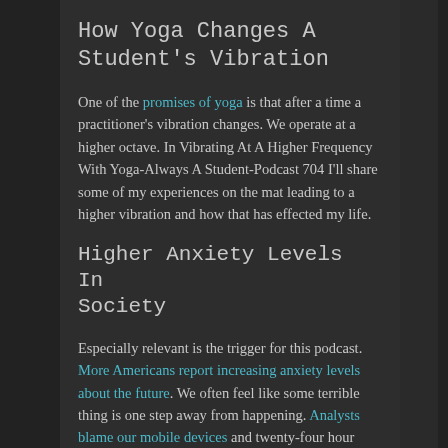How Yoga Changes A Student's Vibration
One of the promises of yoga is that after a time a practitioner's vibration changes. We operate at a higher octave. In Vibrating At A Higher Frequency With Yoga-Always A Student-Podcast 704 I'll share some of my experiences on the mat leading to a higher vibration and how that has effected my life.
Higher Anxiety Levels In Society
Especially relevant is the trigger for this podcast. More Americans report increasing anxiety levels about the future. We often feel like some terrible thing is one step away from happening. Analysts blame our mobile devices and twenty-four hour cable television news…